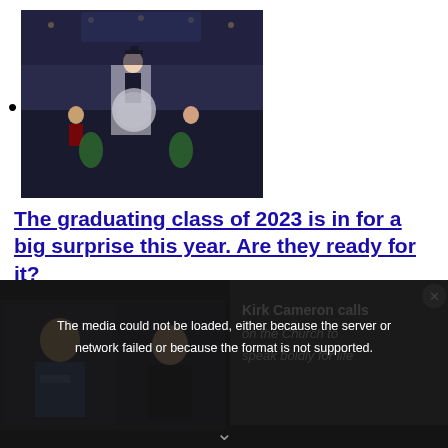[Figure (photo): Graduation ceremony photo showing a speaker at podium in academic regalia with others on stage, university seal visible]
•
The graduating class of 2023 is in for a big surprise this year. Are they ready for it?
Popular in the Community
[Figure (screenshot): Bottom overlay showing a video player with media error message: 'The media could not be loaded, either because the server or network failed or because the format is not supported.' and Kirk Cameron video thumbnail with text 'Kirk Cameron calls on the Church to speak boldly for life']